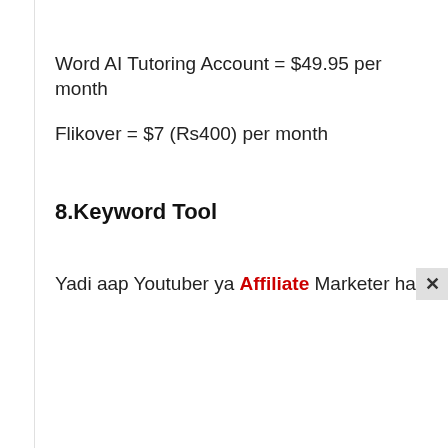Word AI Tutoring Account = $49.95 per month
Flikover = $7 (Rs400) per month
8.Keyword Tool
Yadi aap Youtuber ya Affiliate Marketer hai to